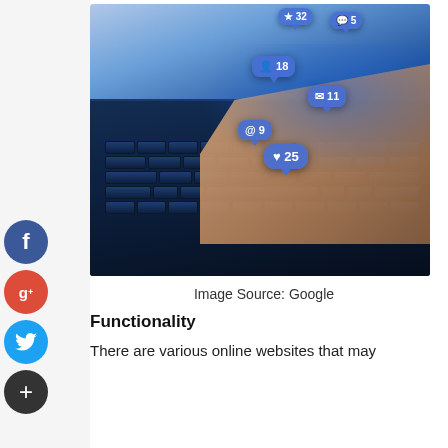[Figure (photo): Person's hands typing on a laptop with social media notification bubbles (likes, messages, mentions: 32, 5, 18, 11, 9, 25) floating above the keyboard in blue tones]
Image Source: Google
Functionality
There are various online websites that may